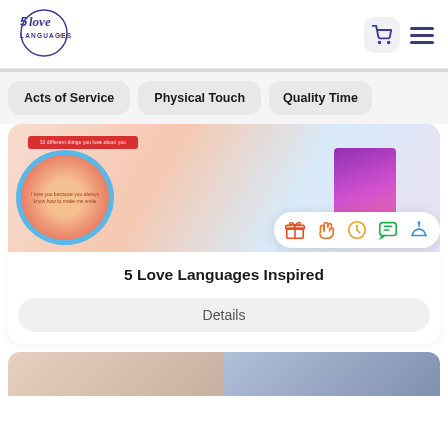[Figure (logo): 5 Love Languages logo — circular with '5love LANGUAGES' text in dark blue/purple]
Acts of Service
Physical Touch
Quality Time
[Figure (photo): 5 Love Languages inspired sticky note product — colorful scalloped pads with a book, with icons: gift, hand, clock, chat, service bell]
5 Love Languages Inspired
Details